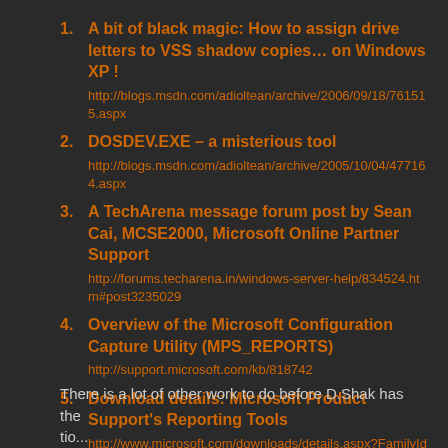A bit of black magic: How to assign drive letters to VSS shadow copies… on Windows XP !
http://blogs.msdn.com/adioltean/archive/2006/09/18/761515.aspx
DOSDEV.EXE – a misterious tool
http://blogs.msdn.com/adioltean/archive/2005/10/04/477164.aspx
A TechArena message forum post by Sean Cai, MCSE2000, Microsoft Online Partner Support
http://forums.techarena.in/windows-server-help/834524.htm#post3235029
Overview of the Microsoft Configuration Capture Utility (MPS_REPORTS)
http://support.microsoft.com/kb/818742
Download details: Microsoft Product Support's Reporting Tools
http://www.microsoft.com/downloads/details.aspx?FamilyId=CEBF3C7C-7CA5-408F-88B7-F9C79B7306C0
There is a lot of other work to do before D.Shak has the